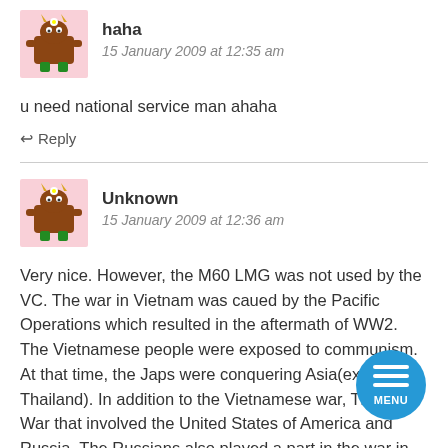[Figure (illustration): Cartoon monster avatar in pink background for user 'haha']
haha
15 January 2009 at 12:35 am
u need national service man ahaha
Reply
[Figure (illustration): Cartoon monster avatar in pink background for user 'Unknown']
Unknown
15 January 2009 at 12:36 am
Very nice. However, the M60 LMG was not used by the VC. The war in Vietnam was caued by the Pacific Operations which resulted in the aftermath of WW2. The Vietnamese people were exposed to communism. At that time, the Japs were conquering Asia(excluding Thailand). In addition to the Vietnamese war, The Cold War that involved the United States of America and Russia. The Russians also played a part in the war in